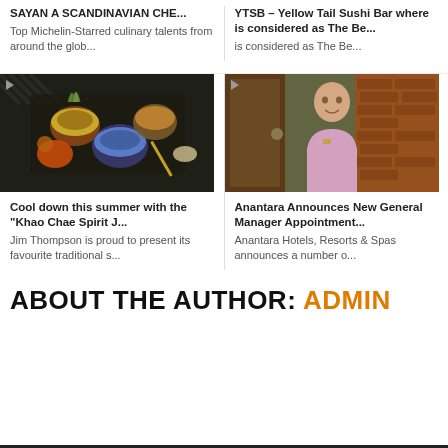SAYAN A SCANDINAVIAN CHE...
Top Michelin-Starred culinary talents from around the glob...
YTSB – Yellow Tail Sushi Bar where is considered as The Be...
is considered as The Be...
[Figure (photo): Overhead shot of Thai food dishes in brass bowls on a dark tray with decorative items]
Cool down this summer with the “Khao Chae Spirit J...
Jim Thompson is proud to present its favourite traditional s...
[Figure (photo): Portrait of a man in a pink shirt standing outdoors near brick wall and wooden door]
Anantara Announces New General Manager Appointment...
Anantara Hotels, Resorts &amp; Spas announces a number o...
ABOUT THE AUTHOR: ADMIN